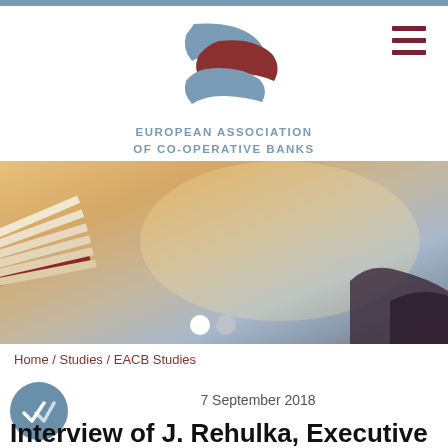[Figure (logo): European Association of Co-operative Banks logo — two interlocking shield shapes in steel blue and dark red, arranged vertically]
EUROPEAN ASSOCIATION
OF CO-OPERATIVE BANKS
[Figure (photo): Hero banner photo: open book or pages flying against a warm sunset sky with rocky coastal scenery in background. Slider pagination dots visible at bottom.]
Home / Studies / EACB Studies
7 September 2018
Interview of J. Rehulka, Executive